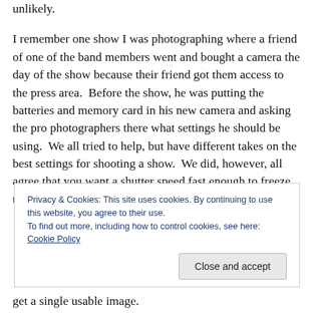unlikely.

I remember one show I was photographing where a friend of one of the band members went and bought a camera the day of the show because their friend got them access to the press area.  Before the show, he was putting the batteries and memory card in his new camera and asking the pro photographers there what settings he should be using.  We all tried to help, but have different takes on the best settings for shooting a show.  We did, however, all agree that you want a shutter speed fast enough to freeze the action, but slow enough to let in enough light to
Privacy & Cookies: This site uses cookies. By continuing to use this website, you agree to their use.
To find out more, including how to control cookies, see here: Cookie Policy
get a single usable image.